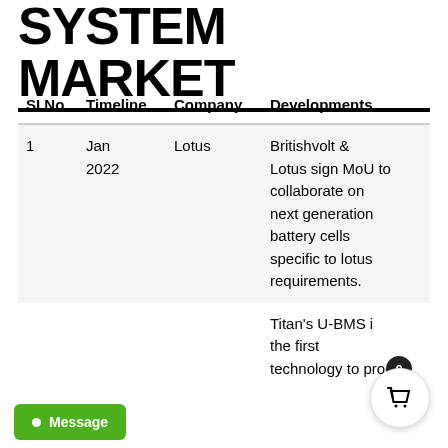SYSTEM MARKET
| SI No | Timeline | Company | Developments |
| --- | --- | --- | --- |
| 1 | Jan 2022 | Lotus | Britishvolt & Lotus sign MoU to collaborate on next generation battery cells specific to lotus requirements. |
|  |  |  | Titan's U-BMS i the first technology to pro- |